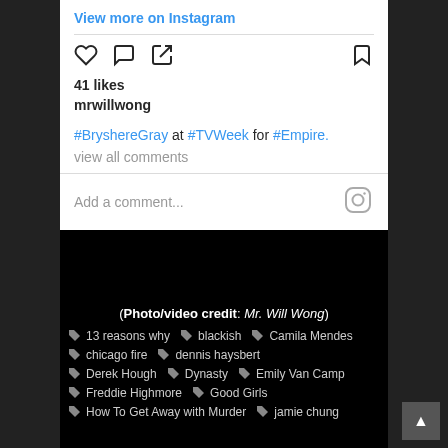View more on Instagram
41 likes
mrwillwong
#BryshereGray at #TVWeek for #Empire.
view all comments
Add a comment...
(Photo/video credit: Mr. Will Wong)
13 reasons why
blackish
Camila Mendes
chicago fire
dennis haysbert
Derek Hough
Dynasty
Emily Van Camp
Freddie Highmore
Good Girls
How To Get Away with Murder
jamie chung